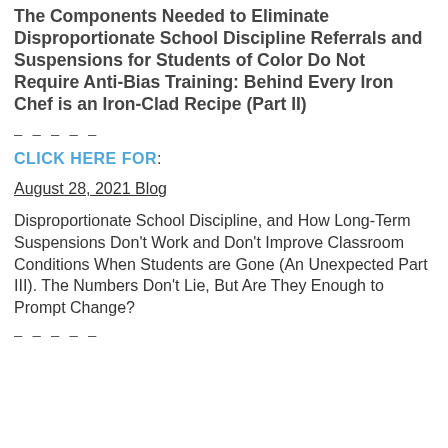The Components Needed to Eliminate Disproportionate School Discipline Referrals and Suspensions for Students of Color Do Not Require Anti-Bias Training: Behind Every Iron Chef is an Iron-Clad Recipe (Part II)
– – – – –
CLICK HERE FOR:
August 28, 2021 Blog
Disproportionate School Discipline, and How Long-Term Suspensions Don't Work and Don't Improve Classroom Conditions When Students are Gone (An Unexpected Part III). The Numbers Don't Lie, But Are They Enough to Prompt Change?
– – – – –